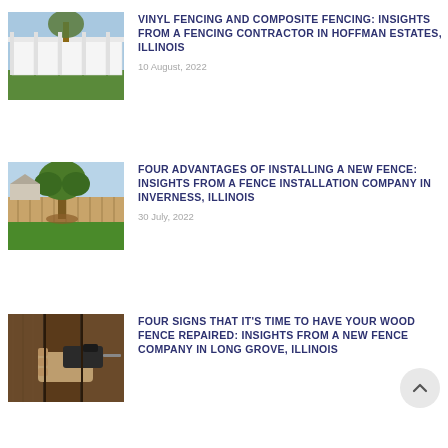[Figure (photo): Photo of white vinyl fence with trees in background]
VINYL FENCING AND COMPOSITE FENCING: INSIGHTS FROM A FENCING CONTRACTOR IN HOFFMAN ESTATES, ILLINOIS
10 August, 2022
[Figure (photo): Photo of wooden fence with tree in yard]
FOUR ADVANTAGES OF INSTALLING A NEW FENCE: INSIGHTS FROM A FENCE INSTALLATION COMPANY IN INVERNESS, ILLINOIS
30 July, 2022
[Figure (photo): Photo of person using drill on wood fence]
FOUR SIGNS THAT IT'S TIME TO HAVE YOUR WOOD FENCE REPAIRED: INSIGHTS FROM A NEW FENCE COMPANY IN LONG GROVE, ILLINOIS